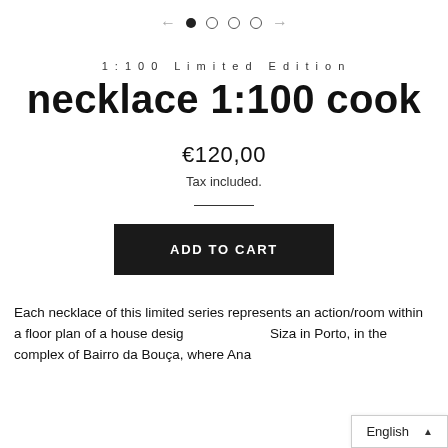[Figure (other): Navigation pagination: left arrow, filled circle, three empty circles, right arrow]
1 : 1 0 0   L i m i t e d   E d i t i o n
necklace 1:100 cook
€120,00
Tax included.
ADD TO CART
Each necklace of this limited series represents an action/room within a floor plan of a house desig... Siza in Porto, in the complex of Bairro da Bouça, where Ana
English